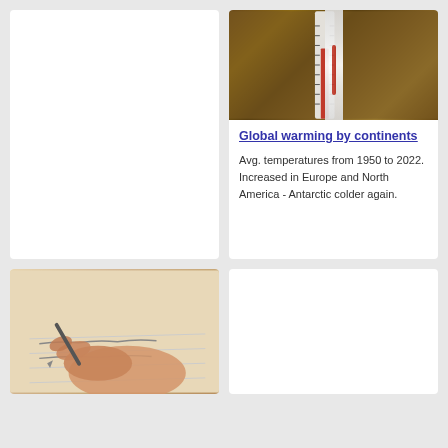[Figure (photo): Empty white card, top left]
[Figure (photo): Thermometer against rocky/lichen-covered surface background, showing temperature scale]
Global warming by continents
Avg. temperatures from 1950 to 2022. Increased in Europe and North America - Antarctic colder again.
[Figure (photo): Hand holding a pen writing on paper/document]